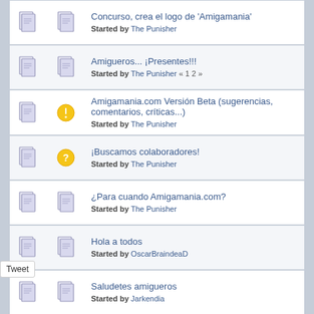Concurso, crea el logo de 'Amigamania' - Started by The Punisher
Amigueros... ¡Presentes!!! - Started by The Punisher « 1 2 »
Amigamania.com Versión Beta (sugerencias, comentarios, críticas...) - Started by The Punisher
¡Buscamos colaboradores! - Started by The Punisher
¿Para cuando Amigamania.com? - Started by The Punisher
Hola a todos - Started by OscarBraindeaD
Saludetes amigueros - Started by Jarkendia
Pages: [1]  Go Up
El Foro de The Punisher » Amigamania » General (Moderator: The Punisher)